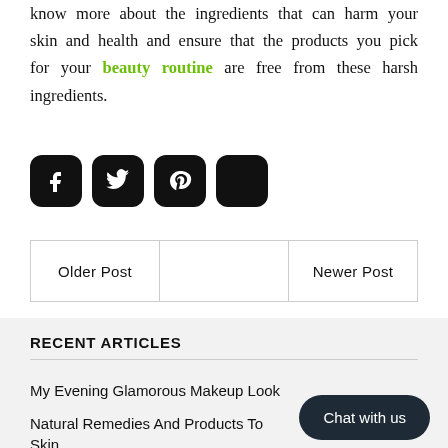know more about the ingredients that can harm your skin and health and ensure that the products you pick for your beauty routine are free from these harsh ingredients.
[Figure (other): Four social media share buttons (Facebook, Twitter, Pinterest, and one more) as dark rounded square icons]
| Older Post |  | Newer Post |
| --- | --- | --- |
|  |
RECENT ARTICLES
My Evening Glamorous Makeup Look
Natural Remedies And Products To... Skin
Chat with us